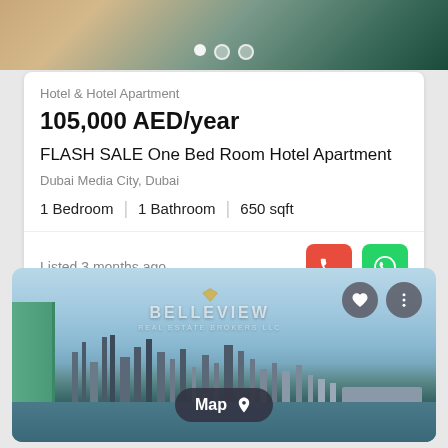[Figure (photo): Top portion of a hotel apartment listing card showing decorative bedding/fur texture, with carousel dots.]
Hotel & Hotel Apartment
105,000 AED/year
FLASH SALE One Bed Room Hotel Apartment
Dubai Media City, Dubai
1 Bedroom  |  1 Bathroom  |  650 sqft
Listed 3 months ago
[Figure (photo): Aerial view photo of Dubai skyline with skyscrapers, water/sea visible, taken from a balcony with green railing. Belleview real estate broker logo overlaid. Map button at bottom. Heart and three-dots action buttons at top right.]